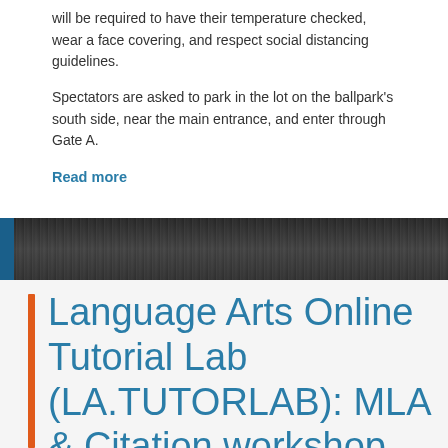will be required to have their temperature checked, wear a face covering, and respect social distancing guidelines.
Spectators are asked to park in the lot on the ballpark's south side, near the main entrance, and enter through Gate A.
Read more
Posted in Uncategorized • Leave a comment
[Figure (photo): Dark grayscale photograph of trees and structures, used as a banner image between two content sections]
Language Arts Online Tutorial Lab (LA.TUTORLAB): MLA & Citation workshop